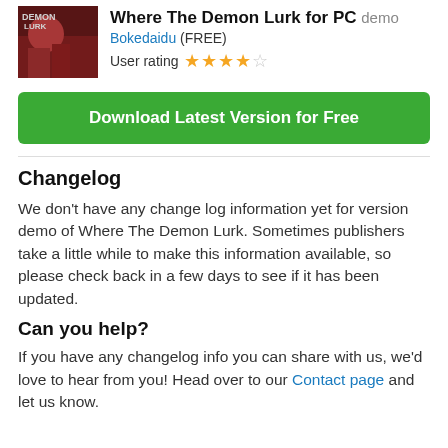[Figure (photo): Game cover image for Where The Demon Lurk, showing characters in a dark reddish scene]
Where The Demon Lurk for PC demo
Bokedaidu (FREE)
User rating ★★★★☆
Download Latest Version for Free
Changelog
We don't have any change log information yet for version demo of Where The Demon Lurk. Sometimes publishers take a little while to make this information available, so please check back in a few days to see if it has been updated.
Can you help?
If you have any changelog info you can share with us, we'd love to hear from you! Head over to our Contact page and let us know.